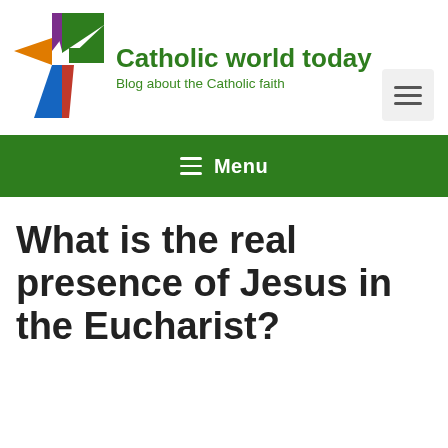[Figure (logo): Colorful cross logo made of triangular segments in purple, green, orange, blue, and red colors]
Catholic world today
Blog about the Catholic faith
≡ Menu
What is the real presence of Jesus in the Eucharist?